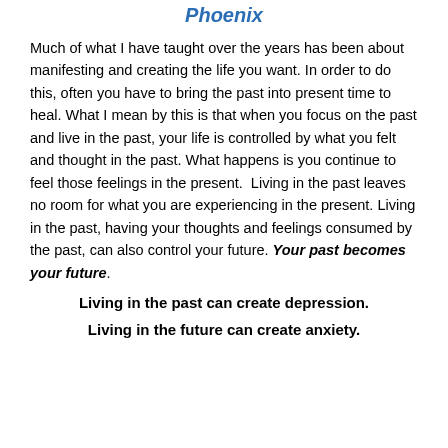Phoenix
Much of what I have taught over the years has been about manifesting and creating the life you want. In order to do this, often you have to bring the past into present time to heal. What I mean by this is that when you focus on the past and live in the past, your life is controlled by what you felt and thought in the past. What happens is you continue to feel those feelings in the present.  Living in the past leaves no room for what you are experiencing in the present. Living in the past, having your thoughts and feelings consumed by the past, can also control your future. Your past becomes your future.
Living in the past can create depression.
Living in the future can create anxiety.